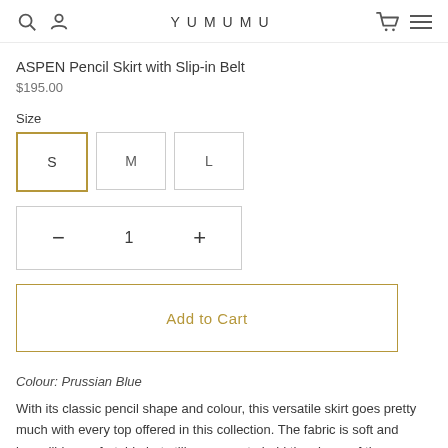YUMUMU
ASPEN Pencil Skirt with Slip-in Belt
$195.00
Size
S  M  L
- 1 +
Add to Cart
Colour: Prussian Blue
With its classic pencil shape and colour, this versatile skirt goes pretty much with every top offered in this collection. The fabric is soft and incredibly comfortable but still manages to hold the shape of the